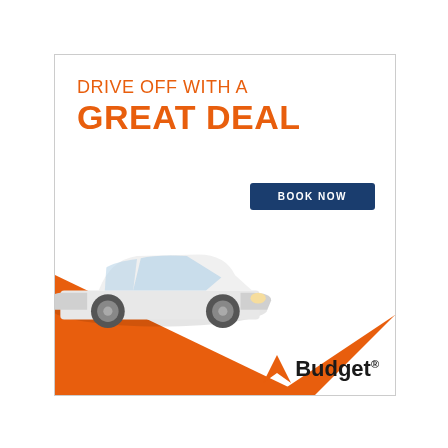DRIVE OFF WITH A GREAT DEAL
BOOK NOW
[Figure (illustration): White Hyundai sedan on an orange diagonal wedge background with a white triangle cutout in the lower right corner]
[Figure (logo): Budget car rental logo with orange arrow/chevron and the word Budget]